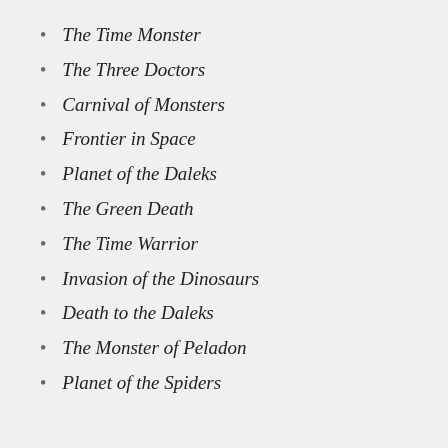The Time Monster
The Three Doctors
Carnival of Monsters
Frontier in Space
Planet of the Daleks
The Green Death
The Time Warrior
Invasion of the Dinosaurs
Death to the Daleks
The Monster of Peladon
Planet of the Spiders